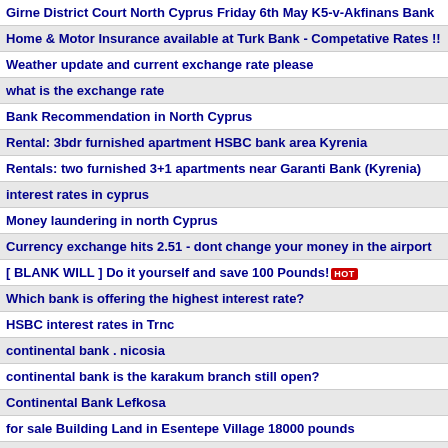Girne District Court North Cyprus Friday 6th May K5-v-Akfinans Bank
Home & Motor Insurance available at Turk Bank - Competative Rates !!
Weather update and current exchange rate please
what is the exchange rate
Bank Recommendation in North Cyprus
Rental: 3bdr furnished apartment HSBC bank area Kyrenia
Rentals: two furnished 3+1 apartments near Garanti Bank (Kyrenia)
interest rates in cyprus
Money laundering in north Cyprus
Currency exchange hits 2.51 - dont change your money in the airport
[ BLANK WILL ] Do it yourself and save 100 Pounds! HOT
Which bank is offering the highest interest rate?
HSBC interest rates in Trnc
continental bank . nicosia
continental bank is the karakum branch still open?
Continental Bank Lefkosa
for sale Building Land in Esentepe Village 18000 pounds
For Sale: 3 piece leather Setee 90 pounds
currency exchange in trnc